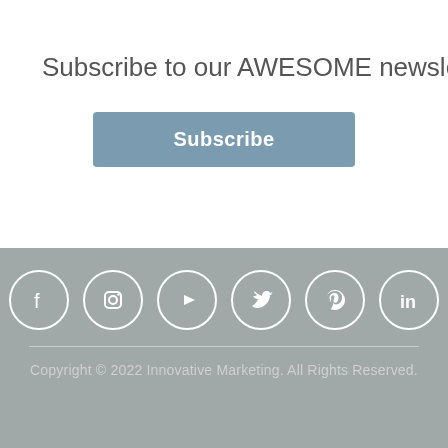×
Subscribe to our AWESOME newsletter
Subscribe
[Figure (infographic): Social media icons row: Facebook, Instagram, YouTube, Twitter, Pinterest, LinkedIn — white icons in circular outlines on grey background]
Copyright © 2022 Innovative Marketing. All Rights Reserved.